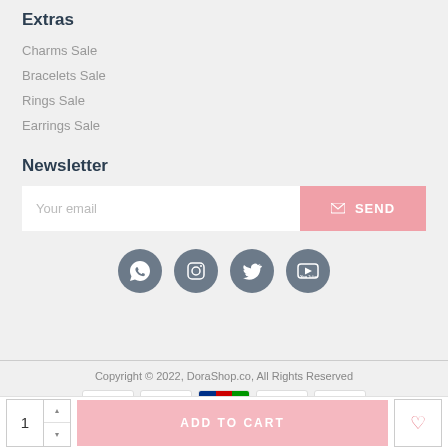Extras
Charms Sale
Bracelets Sale
Rings Sale
Earrings Sale
Newsletter
Your email | SEND
[Figure (infographic): Social media icons: WhatsApp, Instagram, Twitter, YouTube — circular dark grey buttons]
Copyright © 2022, DoraShop.co, All Rights Reserved
[Figure (infographic): Payment method icons: VISA, Mastercard, JCB, American Express, Discover]
1 | ADD TO CART | ♡